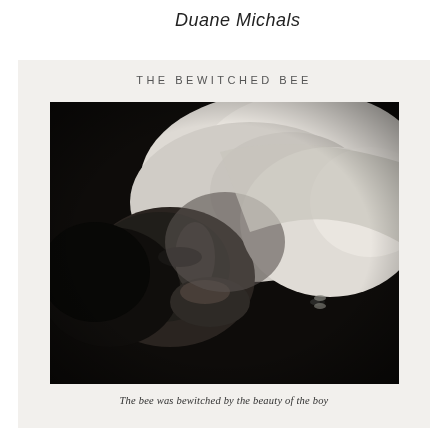Duane Michals
[Figure (photo): Black and white photograph by Duane Michals titled 'The Bewitched Bee'. The image shows a close-up of a reclining figure with a bee visible on the skin. Handwritten text above the photo reads 'THE BEWITCHED BEE' and below the photo reads 'The bee was bewitched by the beauty of the boy'.]
The bee was bewitched by the beauty of the boy